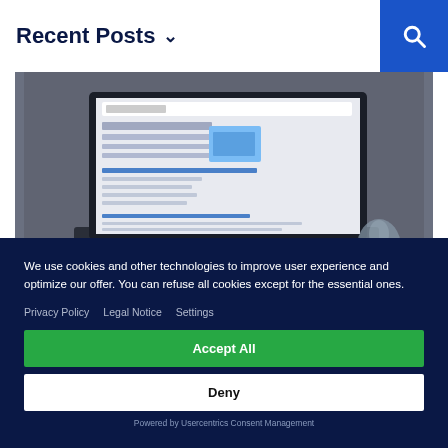Recent Posts
[Figure (screenshot): Laptop computer on a desk displaying a Google search results page, with a dark background and a computer mouse partially visible to the right.]
We use cookies and other technologies to improve user experience and optimize our offer. You can refuse all cookies except for the essential ones.
Privacy Policy   Legal Notice   Settings
Accept All
Deny
Powered by Usercentrics Consent Management